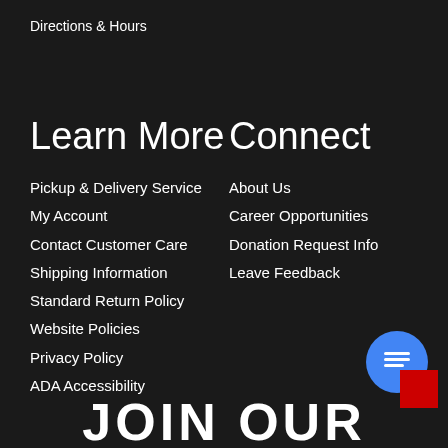Directions & Hours
Learn More
Pickup & Delivery Service
My Account
Contact Customer Care
Shipping Information
Standard Return Policy
Website Policies
Privacy Policy
ADA Accessibility
Connect
About Us
Career Opportunities
Donation Request Info
Leave Feedback
JOIN OUR